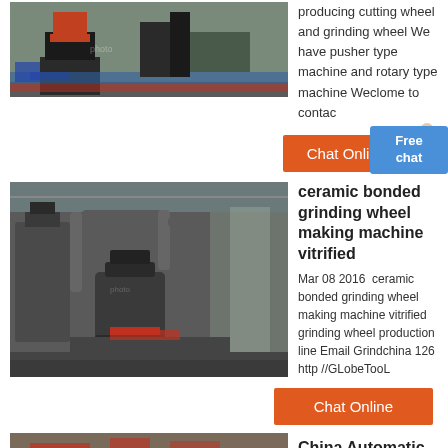[Figure (photo): Industrial machinery - cone crusher or similar grinding equipment in a factory setting with blue floor]
producing cutting wheel and grinding wheel We have pusher type machine and rotary type machine Weclome to contac
[Figure (other): Chat Online button with woman figure - orange button]
[Figure (other): Free chat blue box]
[Figure (photo): Industrial grinding/milling plant interior with large machinery, pipes and conveyor equipment]
ceramic bonded grinding wheel making machine vitrified
Mar 08 2016  ceramic bonded grinding wheel making machine vitrified grinding wheel production line Email Grindchina 126 http //GLobeTooL
[Figure (other): Chat Online orange button]
[Figure (photo): Partial view of industrial machinery at bottom of page]
China Automatic